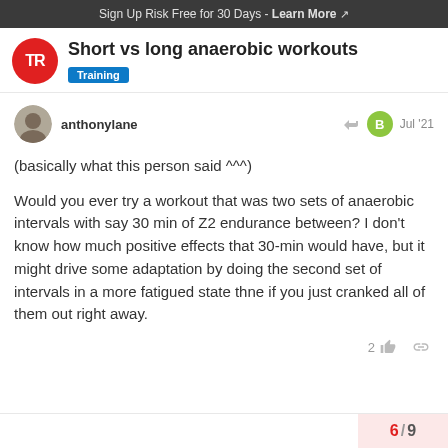Sign Up Risk Free for 30 Days - Learn More
Short vs long anaerobic workouts
Training
anthonylane   Jul '21
(basically what this person said ^^^)
Would you ever try a workout that was two sets of anaerobic intervals with say 30 min of Z2 endurance between? I don't know how much positive effects that 30-min would have, but it might drive some adaptation by doing the second set of intervals in a more fatigued state thne if you just cranked all of them out right away.
6 / 9